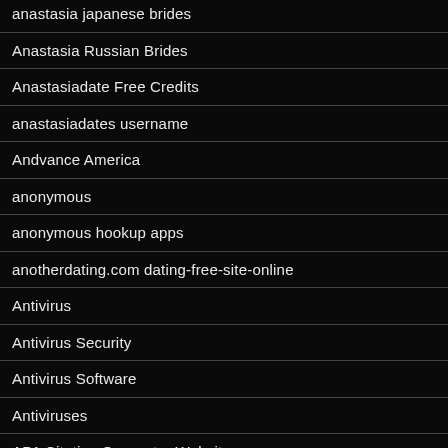anastasia japanese brides
Anastasia Russian Brides
Anastasiadate Free Credits
anastasiadates username
Andvance America
anonymous
anonymous hookup apps
anotherdating.com dating-free-site-online
Antivirus
Antivirus Security
Antivirus Software
Antiviruses
APA Citation Generator Websites